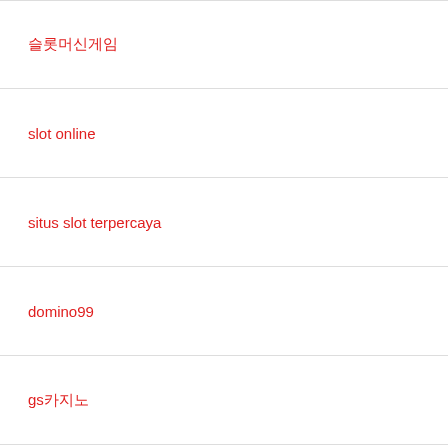슬롯머신게임
slot online
situs slot terpercaya
domino99
gs카지노